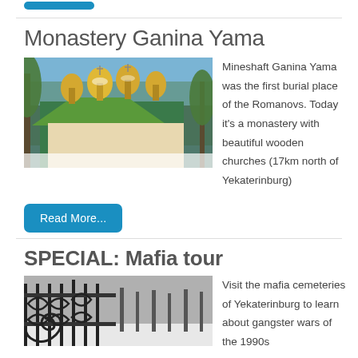[Figure (photo): Blue button at top of page]
Monastery Ganina Yama
[Figure (photo): Photo of Monastery Ganina Yama showing golden onion domes of wooden church against blue sky and trees]
Mineshaft Ganina Yama was the first burial place of the Romanovs. Today it's a monastery with beautiful wooden churches (17km north of Yekaterinburg)
[Figure (other): Read More... button]
SPECIAL: Mafia tour
[Figure (photo): Black and white photo of ornate iron cemetery gate with scrollwork, snow visible in background]
Visit the mafia cemeteries of Yekaterinburg to learn about gangster wars of the 1990s